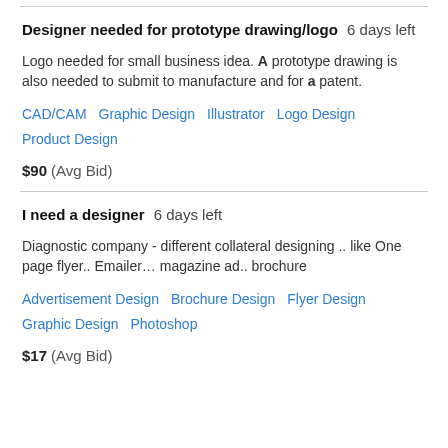Designer needed for prototype drawing/logo  6 days left
Logo needed for small business idea. A prototype drawing is also needed to submit to manufacture and for a patent.
CAD/CAM   Graphic Design   Illustrator   Logo Design   Product Design
$90  (Avg Bid)
I need a designer  6 days left
Diagnostic company - different collateral designing .. like One page flyer.. Emailer… magazine ad.. brochure
Advertisement Design   Brochure Design   Flyer Design   Graphic Design   Photoshop
$17  (Avg Bid)